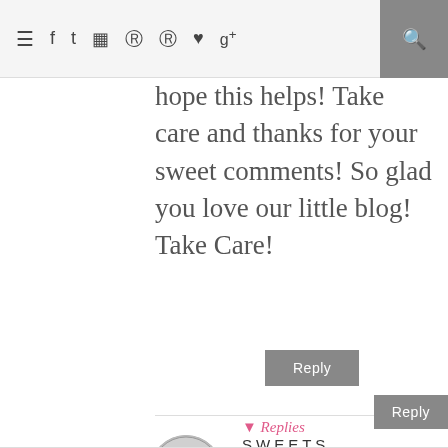≡ f t ☷ ® ♥ g+ 🔍
ones. I hope this helps! Take care and thanks for your sweet comments! So glad you love our little blog! Take Care!
Reply
SWEETS
June 21, 2013 at 9:17 AM
Do you have a tutorial about binding?
Reply
▾ Replies